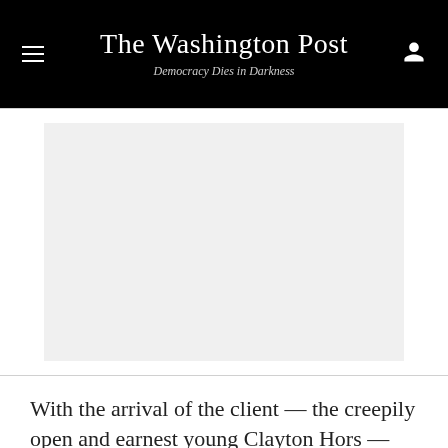The Washington Post
Democracy Dies in Darkness
[Figure (other): Blank/placeholder image area (light gray rectangle)]
With the arrival of the client — the creepily open and earnest young Clayton Hors — the tone and mood shift...